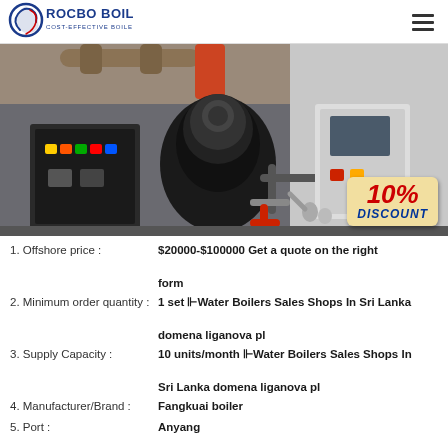[Figure (logo): Rocbo Boiler logo with circular blue swirl and text 'ROCBO BOILER / COST-EFFECTIVE BOILER SUPPLIER']
[Figure (photo): Industrial boiler equipment photo showing control panels, burner assembly, and piping. 10% DISCOUNT badge in bottom right corner.]
1. Offshore price : $20000-$100000 Get a quote on the right form
2. Minimum order quantity : 1 set ⊩Water Boilers Sales Shops In Sri Lanka domena liganova pl
3. Supply Capacity : 10 units/month ⊩Water Boilers Sales Shops In Sri Lanka domena liganova pl
4. Manufacturer/Brand : Fangkuai boiler
5. Port : Anyang